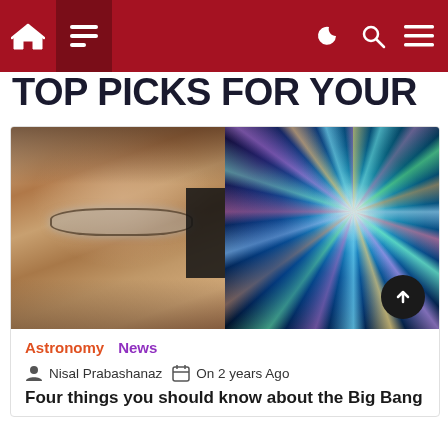Navigation bar with home, menu, dark mode, search, and filter icons
TOP PICKS FOR YOUR
[Figure (photo): Split image: left side shows a man with glasses (Stephen Hawking), right side shows a colorful cosmic Big Bang explosion with bright starburst rays on dark background]
Astronomy   News
Nisal Prabashanaz   On 2 years Ago
Four things you should know about the Big Bang